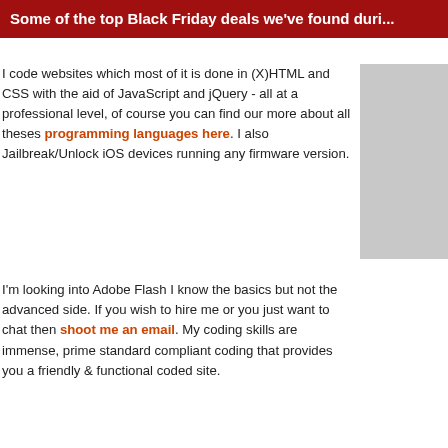Some of the top Black Friday deals we've found duri...
I code websites which most of it is done in (X)HTML and CSS with the aid of JavaScript and jQuery - all at a professional level, of course you can find our more about all theses programming languages here. I also Jailbreak/Unlock iOS devices running any firmware version.
I'm looking into Adobe Flash I know the basics but not the advanced side. If you wish to hire me or you just want to chat then shoot me an email. My coding skills are immense, prime standard compliant coding that provides you a friendly & functional coded site.
I currently live in the United Kingdom (UK) from Sittingbourne, Kent. I've five
You can subscribe to my official newsletter It's free and anti-spam! Simply en... receive our monthly newsletter with great content and freebies - such as free S... including "The iPad Mini" and other products.
Programming Languages now this geek talk...